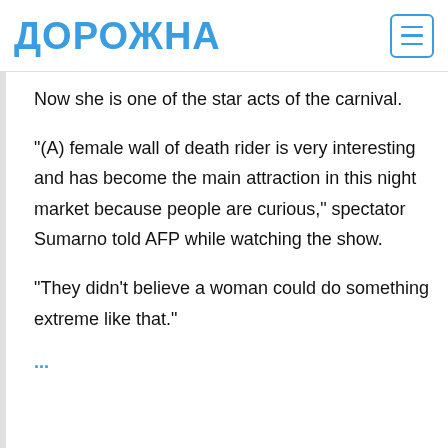ДОРОЖНА
Now she is one of the star acts of the carnival.
“(A) female wall of death rider is very interesting and has become the main attraction in this night market because people are curious,” spectator Sumarno told AFP while watching the show.
“They didn’t believe a woman could do something extreme like that.”
…